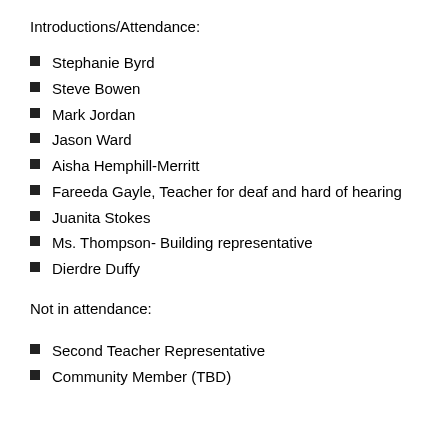Introductions/Attendance:
Stephanie Byrd
Steve Bowen
Mark Jordan
Jason Ward
Aisha Hemphill-Merritt
Fareeda Gayle, Teacher for deaf and hard of hearing
Juanita Stokes
Ms. Thompson- Building representative
Dierdre Duffy
Not in attendance:
Second Teacher Representative
Community Member (TBD)